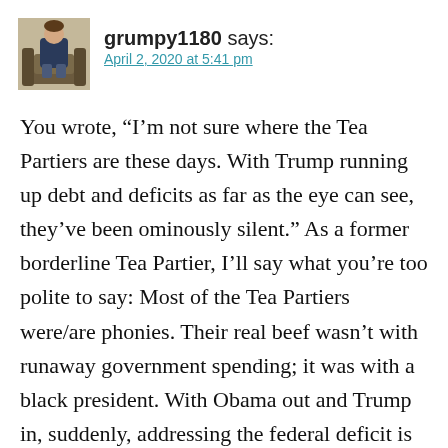[Figure (photo): Small avatar photo of a person sitting on a couch/chair, casual indoor setting]
grumpy1180 says:
April 2, 2020 at 5:41 pm
You wrote, “I’m not sure where the Tea Partiers are these days. With Trump running up debt and deficits as far as the eye can see, they’ve been ominously silent.” As a former borderline Tea Partier, I’ll say what you’re too polite to say: Most of the Tea Partiers were/are phonies. Their real beef wasn’t with runaway government spending; it was with a black president. With Obama out and Trump in, suddenly, addressing the federal deficit is no longer urgent. Our kids and grand kids can deal with it. “Après nous, le déluge”